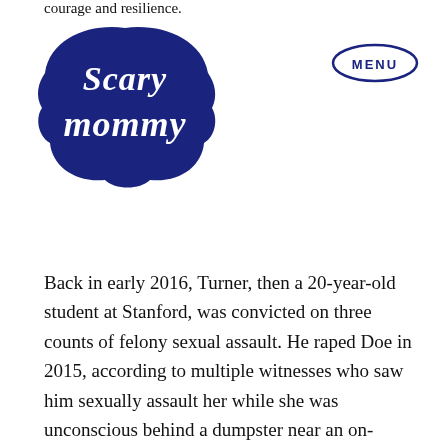courage and resilience.
[Figure (logo): Scary Mommy logo — cursive white text on a dark navy cloud/bubble shape]
[Figure (other): MENU button — text 'MENU' inside a navy oval outline]
Back in early 2016, Turner, then a 20-year-old student at Stanford, was convicted on three counts of felony sexual assault. He raped Doe in 2015, according to multiple witnesses who saw him sexually assault her while she was unconscious behind a dumpster near an on-